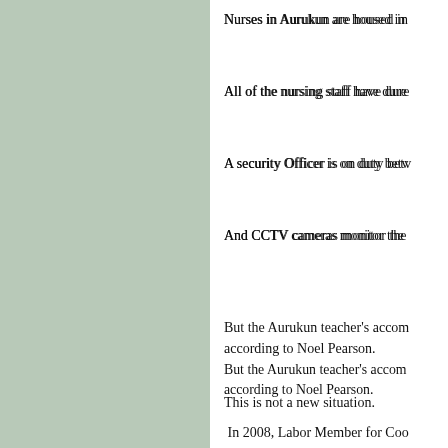Nurses in Aurukun are housed in
All of the nursing staff have dure
A security Officer is on duty betw
And CCTV cameras monitor the
But the Aurukun teacher's accom according to Noel Pearson.
This is not a new situation.
In 2008, Labor Member for Coo expected to live in is in such poo
Queensland teachers seem to hav issue.
Island and Community chairmen